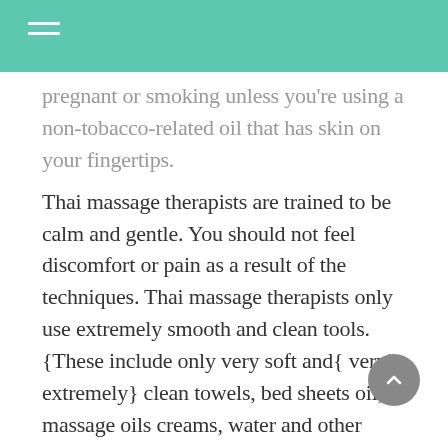pregnant or smoking unless you're using a non-tobacco-related oil that has skin on your fingertips.
Thai massage therapists are trained to be calm and gentle. You should not feel discomfort or pain as a result of the techniques. Thai massage therapists only use extremely smooth and clean tools. {These include only very soft and{ very|| extremely} clean towels, bed sheets oil, massage oils creams, water and other tools.|They employ very soft and smooth towels, sheets of oil,